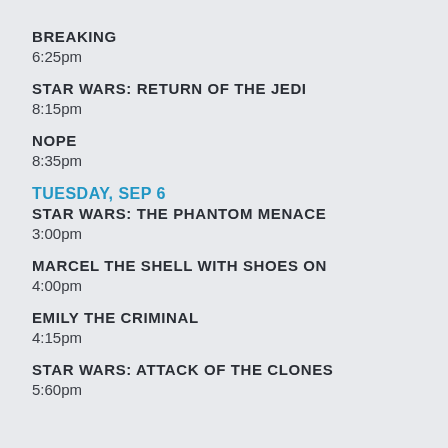BREAKING
6:25pm
STAR WARS: RETURN OF THE JEDI
8:15pm
NOPE
8:35pm
TUESDAY, SEP 6
STAR WARS: THE PHANTOM MENACE
3:00pm
MARCEL THE SHELL WITH SHOES ON
4:00pm
EMILY THE CRIMINAL
4:15pm
STAR WARS: ATTACK OF THE CLONES
5:60pm